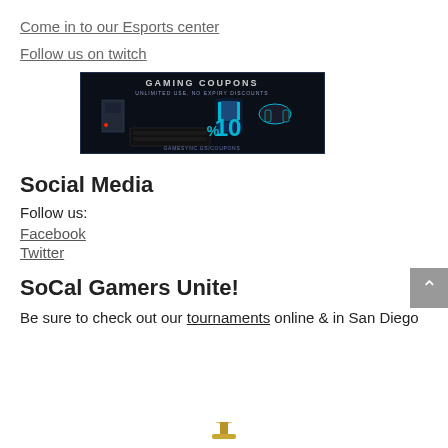Come in to our Esports center
Follow us on twitch
[Figure (illustration): Gaming Coupons banner image with gaming peripherals (PC, gaming chair, headset, keyboard) on dark background. Text: GAMING COUPONS, UNLIMITED USE, NO EXPIRY DISCOUNTS, GAMESYNC.US/COUPONS]
Social Media
Follow us:
Facebook
Twitter
SoCal Gamers Unite!
Be sure to check out our tournaments online & in San Diego
[Figure (illustration): Partial trophy image at the bottom of the page]